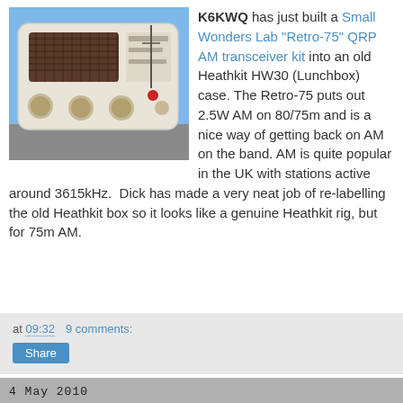[Figure (photo): Photo of a white vintage-style radio transceiver (Heathkit HW30 Lunchbox case) with knobs and speaker grille, sitting outdoors on a surface under blue sky]
K6KWQ has just built a Small Wonders Lab "Retro-75" QRP AM transceiver kit into an old Heathkit HW30 (Lunchbox) case. The Retro-75 puts out 2.5W AM on 80/75m and is a nice way of getting back on AM on the band. AM is quite popular in the UK with stations active around 3615kHz. Dick has made a very neat job of re-labelling the old Heathkit box so it looks like a genuine Heathkit rig, but for 75m AM.
at 09:32   9 comments:
Share
4 May 2010